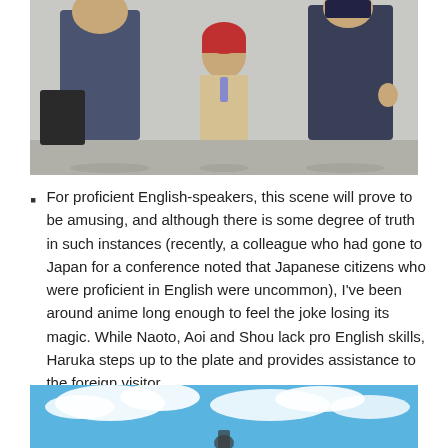[Figure (photo): Anime scene showing three characters standing in a hallway or room. A shorter character with red hair stands in the center between two taller characters in dark uniforms.]
For proficient English-speakers, this scene will prove to be amusing, and although there is some degree of truth in such instances (recently, a colleague who had gone to Japan for a conference noted that Japanese citizens who were proficient in English were uncommon), I've been around anime long enough to feel the joke losing its magic. While Naoto, Aoi and Shou lack pro English skills, Haruka steps up to the plate and provides assistance to the foreign visitor.
[Figure (photo): Anime scene showing a blue sky with clouds and what appears to be a character visible at the bottom of the frame.]